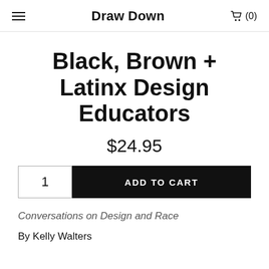Draw Down  🛒 (0)
Black, Brown + Latinx Design Educators
$24.95
1  ADD TO CART
Conversations on Design and Race
By Kelly Walters